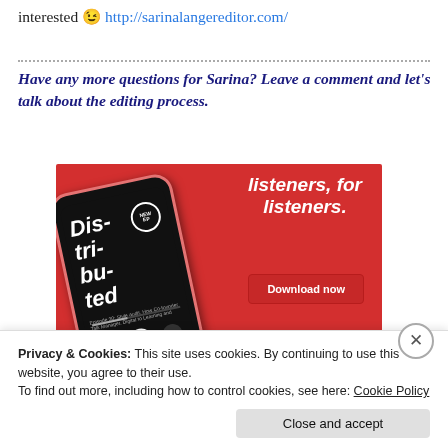interested 😉 http://sarinalangereditor.com/
Have any more questions for Sarina? Leave a comment and let's talk about the editing process.
[Figure (screenshot): Advertisement for a podcast app called 'Distributed' shown on a phone mockup against a red background. Text reads 'listeners, for listeners.' with a Download now button.]
Privacy & Cookies: This site uses cookies. By continuing to use this website, you agree to their use.
To find out more, including how to control cookies, see here: Cookie Policy
Close and accept